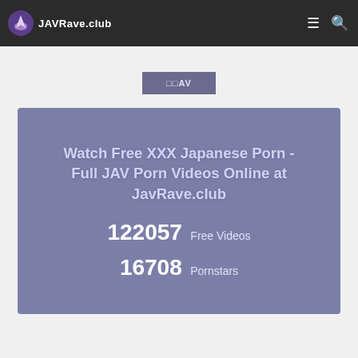JAVRave.club
Watch Free XXX Japanese Porn - Full JAV Porn Videos Online at JavRave.club
122057 Free Videos
16708 Pornstars